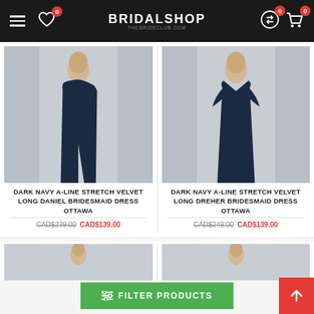BRIDALSHOP — thebrideclub.com
[Figure (photo): Dark navy one-shoulder long bridesmaid dress on model]
DARK NAVY A-LINE STRETCH VELVET LONG DANIEL BRIDESMAID DRESS OTTAWA
CAD$239.00  CAD$139.00
[Figure (photo): Dark navy flutter-sleeve long bridesmaid dress on model]
DARK NAVY A-LINE STRETCH VELVET LONG DREHER BRIDESMAID DRESS OTTAWA
CAD$249.00  CAD$139.00
FILTER PRODUCTS
[Figure (photo): Partial view of another bridesmaid dress at bottom of page]